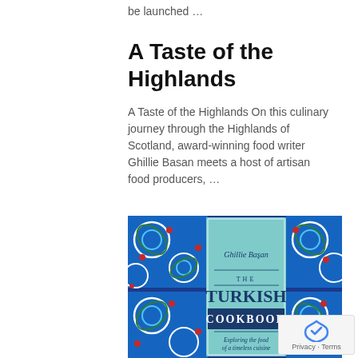be launched …
A Taste of the Highlands
A Taste of the Highlands On this culinary journey through the Highlands of Scotland, award-winning food writer Ghillie Basan meets a host of artisan food producers, …
[Figure (illustration): Book cover of 'The Turkish Cookbook' by Ghillie Başan, featuring ornate blue and white Turkish ceramic tile pattern in the background and a light blue center panel with the title text. Subtitle reads 'Exploring the food of a timeless cuisine'.]
Privacy · Terms